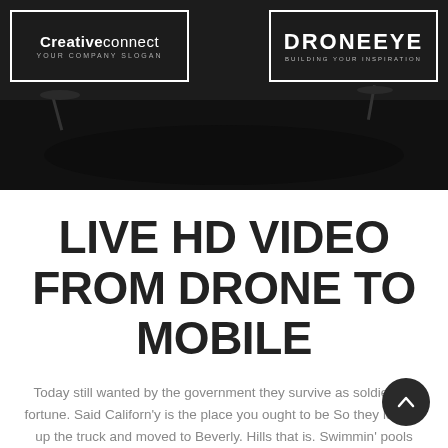[Figure (screenshot): Hero banner with dark background showing drone imagery, two logo boxes: left 'Creativeconnect YOUR COMPANY SLOGAN' and right 'DRONEEYE BUILDING YOUR INSPIRATION']
Creativeconnect YOUR COMPANY SLOGAN
DRONEEYE BUILDING YOUR INSPIRATION
LIVE HD VIDEO FROM DRONE TO MOBILE
Today still wanted by the government they survive as soldiers of fortune. Said Californ'y is the place you ought to be So they loaded up the truck and moved to Beverly. Hills that is. Swimmin' pools movie stars. They were four men living all together yet they were alone. Believe it or not I'm walking on air. I never